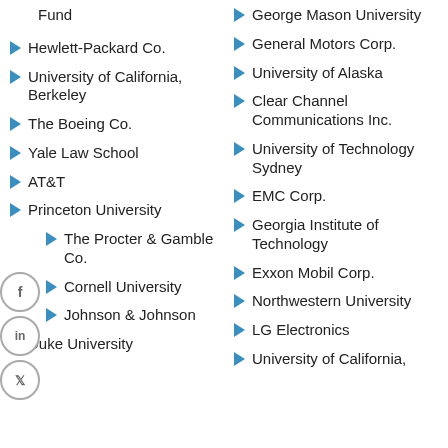Fund
Hewlett-Packard Co.
University of California, Berkeley
The Boeing Co.
Yale Law School
AT&T
Princeton University
The Procter & Gamble Co.
Cornell University
Johnson & Johnson
Duke University
George Mason University
General Motors Corp.
University of Alaska
Clear Channel Communications Inc.
University of Technology Sydney
EMC Corp.
Georgia Institute of Technology
Exxon Mobil Corp.
Northwestern University
LG Electronics
University of California,